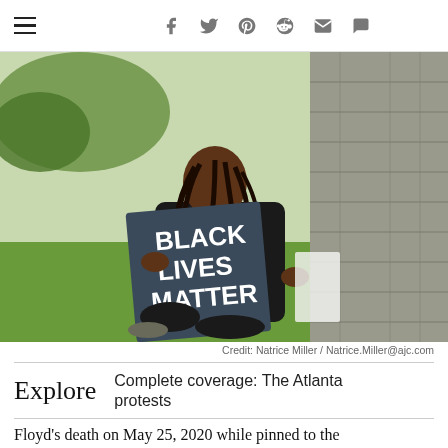Navigation bar with hamburger menu and social icons: Facebook, Twitter, Pinterest, Reddit, Mail, Comment
[Figure (photo): A Black woman sits against a stone wall on grass, holding a dark sign reading 'BLACK LIVES MATTER' in white bold text. She wears a black t-shirt and has long braids.]
Credit: Natrice Miller / Natrice.Miller@ajc.com
Complete coverage: The Atlanta protests
Floyd's death on May 25, 2020 while pinned to the